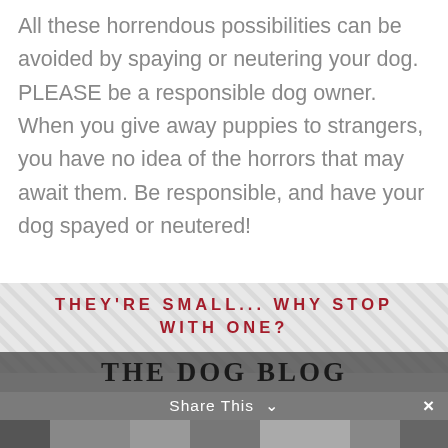All these horrendous possibilities can be avoided by spaying or neutering your dog. PLEASE be a responsible dog owner. When you give away puppies to strangers, you have no idea of the horrors that may await them. Be responsible, and have your dog spayed or neutered!
Attribution: This article was originally posted on Preciouspawshealth.com, and is used with permission.
THEY'RE SMALL... WHY STOP WITH ONE?
THE DOG BLOG
Share This ×